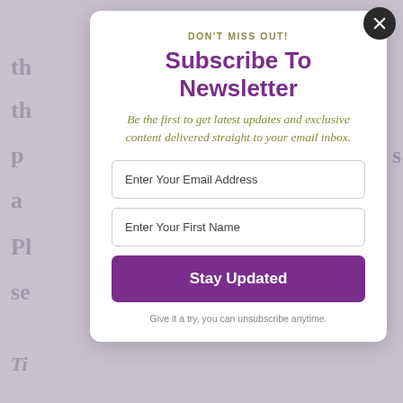DON'T MISS OUT!
Subscribe To Newsletter
Be the first to get latest updates and exclusive content delivered straight to your email inbox.
Enter Your Email Address
Enter Your First Name
Stay Updated
Give it a try, you can unsubscribe anytime.